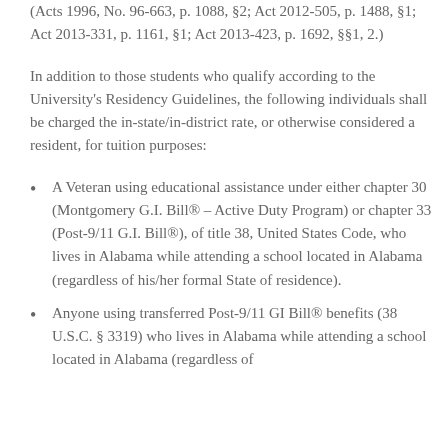(Acts 1996, No. 96-663, p. 1088, §2; Act 2012-505, p. 1488, §1; Act 2013-331, p. 1161, §1; Act 2013-423, p. 1692, §§1, 2.)
In addition to those students who qualify according to the University's Residency Guidelines, the following individuals shall be charged the in-state/in-district rate, or otherwise considered a resident, for tuition purposes:
A Veteran using educational assistance under either chapter 30 (Montgomery G.I. Bill® – Active Duty Program) or chapter 33 (Post-9/11 G.I. Bill®), of title 38, United States Code, who lives in Alabama while attending a school located in Alabama (regardless of his/her formal State of residence).
Anyone using transferred Post-9/11 GI Bill® benefits (38 U.S.C. § 3319) who lives in Alabama while attending a school located in Alabama (regardless of